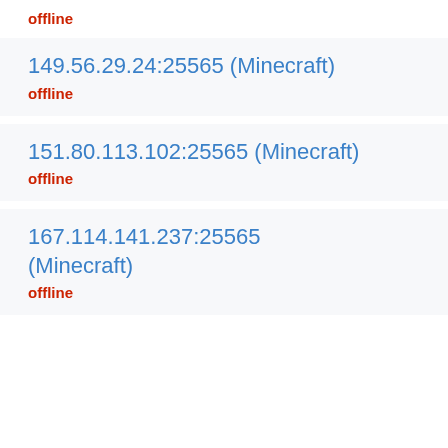offline
149.56.29.24:25565 (Minecraft)
offline
151.80.113.102:25565 (Minecraft)
offline
167.114.141.237:25565 (Minecraft)
offline